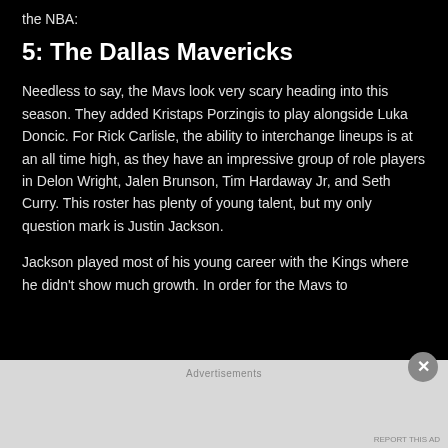the NBA:
5: The Dallas Mavericks
Needless to say, the Mavs look very scary heading into this season. They added Kristaps Porzingis to play alongside Luka Doncic. For Rick Carlisle, the ability to interchange lineups is at an all time high, as they have an impressive group of role players in Delon Wright, Jalen Brunson, Tim Hardaway Jr, and Seth Curry. This roster has plenty of young talent, but my only question mark is Justin Jackson.
Jackson played most of his young career with the Kings where he didn't show much growth. In order for the Mavs to
Advertisements